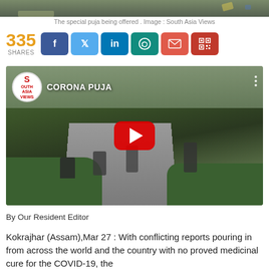[Figure (photo): Partial view of the special puja offering at top of page]
The special puja being offered . Image : South Asia Views
335 SHARES
[Figure (screenshot): YouTube video thumbnail titled CORONA PUJA from South Asia Views channel, showing men performing puja on a road surrounded by fields]
By Our Resident Editor
Kokrajhar (Assam),Mar 27 : With conflicting reports pouring in from across the world and the country with no proved medicinal cure for the COVID-19, the